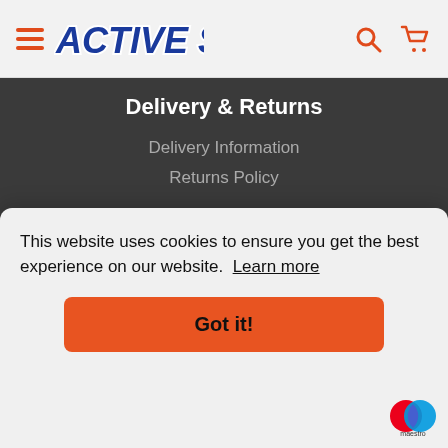Active Sports — navigation header with hamburger menu, logo, search and cart icons
Delivery & Returns
Delivery Information
Returns Policy
Customer Support
Security
Account
Cookie Policy
This website uses cookies to ensure you get the best experience on our website. Learn more
Got it!
[Figure (logo): Maestro payment logo — overlapping red and blue circles with 'maestro' text below]